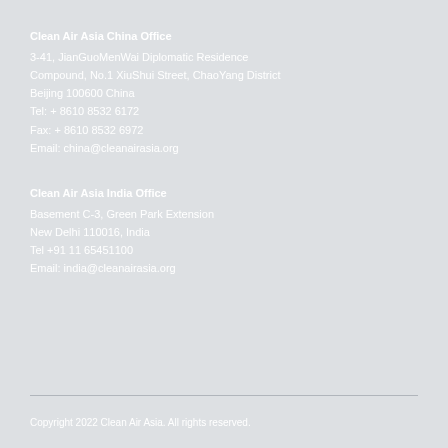Clean Air Asia China Office
3-41, JianGuoMenWai Diplomatic Residence Compound, No.1 XiuShui Street, ChaoYang District
Beijing 100600 China
Tel: + 8610 8532 6172
Fax: + 8610 8532 6972
Email: china@cleanairasia.org
Clean Air Asia India Office
Basement C-3, Green Park Extension
New Delhi 110016, India
Tel +91 11 65451100
Email: india@cleanairasia.org
Copyright 2022 Clean Air Asia. All rights reserved.